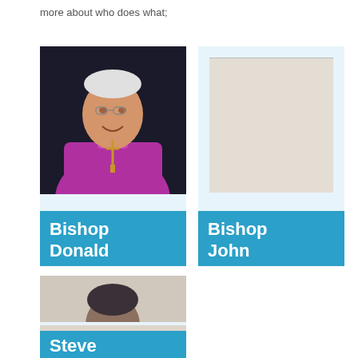more about who does what;
[Figure (photo): Bishop Donald - portrait photo of a bishop in purple robes wearing a cross]
[Figure (photo): Bishop John - placeholder/partially visible photo]
[Figure (photo): Steve - partial photo showing top of head]